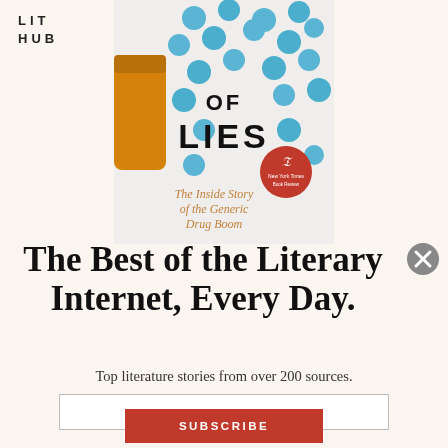LIT
HUB
[Figure (photo): Book cover partially visible: 'Bottle of Lies: The Inside Story of the Generic Drug Boom' with blue pills scattered on a white background, orange prescription bottle, and a red NYT Book Review seal. Only the bottom portion of the title 'OF LIES' and subtitle are shown.]
The Best of the Literary Internet, Every Day.
Top literature stories from over 200 sources.
SUBSCRIBE